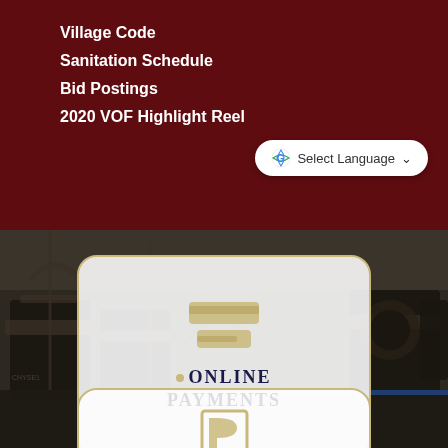[Figure (photo): Gym interior with exercise equipment, dark background with treadmills and weight machines visible]
Village Code
Sanitation Schedule
Bid Postings
2020 VOF Highlight Reel
[Figure (screenshot): Google Translate Select Language button]
[Figure (infographic): Online Payments card with credit card icon]
[Figure (infographic): Partially visible parking card at bottom of page]